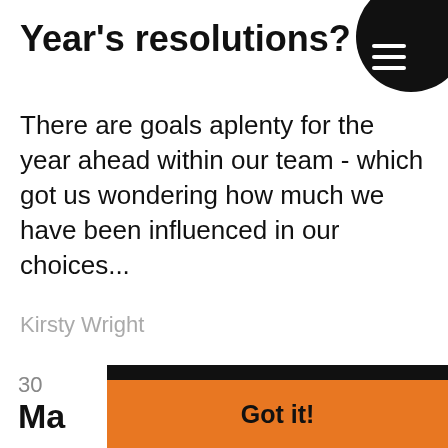Year's resolutions?
There are goals aplenty for the year ahead within our team - which got us wondering how much we have been influenced in our choices...
Kirsty Wright
30
Ma
yo
We
dee
we
This website uses cookies to ensure you get the best experience on our website.
Learn more
Got it!